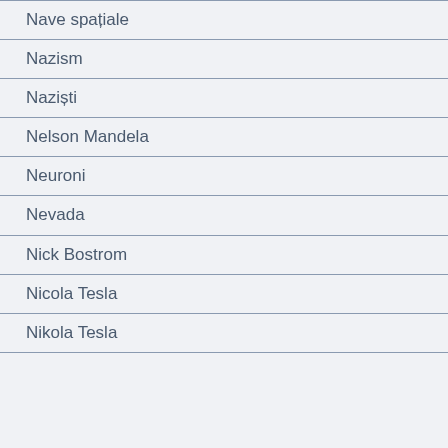Nave spațiale
Nazism
Naziști
Nelson Mandela
Neuroni
Nevada
Nick Bostrom
Nicola Tesla
Nikola Tesla